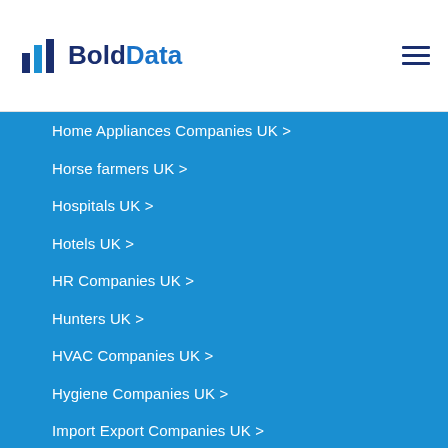BoldData
Home Appliances Companies UK >
Horse farmers UK >
Hospitals UK >
Hotels UK >
HR Companies UK >
Hunters UK >
HVAC Companies UK >
Hygiene Companies UK >
Import Export Companies UK >
Industrial Companies UK >
Information Companies UK >
Installers UK >
Insurance Companies UK >